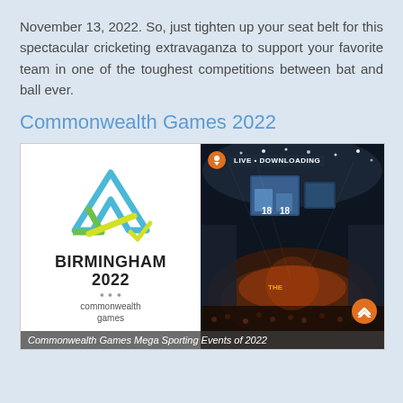November 13, 2022. So, just tighten up your seat belt for this spectacular cricketing extravaganza to support your favorite team in one of the toughest competitions between bat and ball ever.
Commonwealth Games 2022
[Figure (photo): Side-by-side composite image: left side shows the Birmingham 2022 Commonwealth Games logo on white background; right side shows an indoor sports arena with dramatic lighting, large screens, and crowd, with a 'LIVE • DOWNLOADING' badge at top and an orange scroll button at bottom right.]
Commonwealth Games Mega Sporting Events of 2022